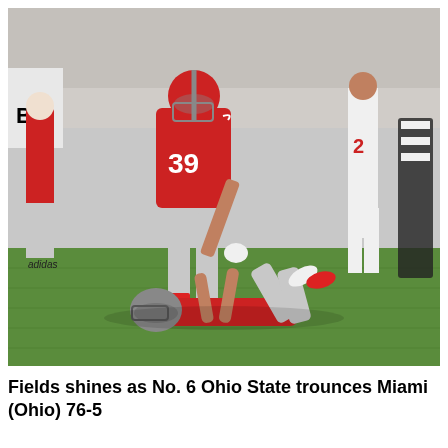[Figure (photo): Football action photo showing Ohio State players in red uniforms on a green field. Player #39 in red Ohio State jersey stands celebrating while another player on the ground is helped up. Miami (Ohio) players in red and white uniforms also visible. Big Ten branding visible on sideline.]
Fields shines as No. 6 Ohio State trounces Miami (Ohio) 76-5